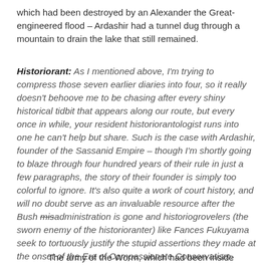which had been destroyed by an Alexander the Great-engineered flood – Ardashir had a tunnel dug through a mountain to drain the lake that still remained.
Historiorant: As I mentioned above, I'm trying to compress those seven earlier diaries into four, so it really doesn't behoove me to be chasing after every shiny historical tidbit that appears along our route, but every once in while, your resident historiorantologist runs into one he can't help but share. Such is the case with Ardashir, founder of the Sassanid Empire – though I'm shortly going to blaze through four hundred years of their rule in just a few paragraphs, the story of their founder is simply too colorful to ignore. It's also quite a work of court history, and will no doubt serve as an invaluable resource after the Bush misadministration is gone and historiogrovelers (the sworn enemy of the historioranter) like Fances Fukuyama seek to tortuously justify the stupid assertions they made at the onset of the Era of Compassionate Conservatism.
The army of the Worm, which had been inside